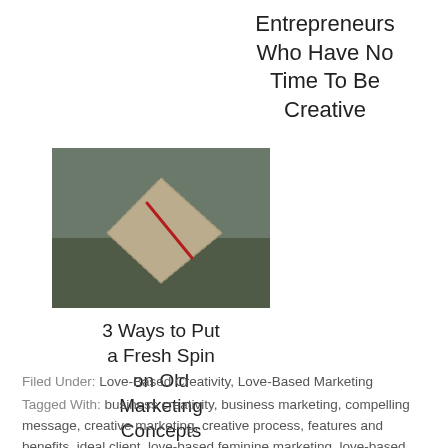Entrepreneurs Who Have No Time To Be Creative
[Figure (photo): A photo showing what appears to be a folded paper or fabric item with a red mark, on a textured surface]
3 Ways to Put a Fresh Spin on Old Marketing Concepts
Filed Under: Love-Based Creativity, Love-Based Marketing
Tagged With: business creativity, business marketing, compelling message, creative marketing, creative process, features and benefits, ideal client, love-based feminine marketing, love-based online marketing, make an offer, making an offer, marketing, marketing message